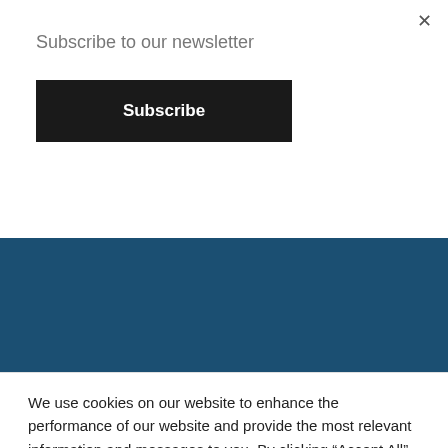Subscribe to our newsletter
Subscribe
SERVICES
Digital Transformation
Efficiencies, Change &
We use cookies on our website to enhance the performance of our website and provide the most relevant information and messages to you. By clicking “Accept All”, you consent to the use of ALL the cookies. However, you may visit “Cookie Settings” to provide a controlled consent.
Cookie Settings
Accept All